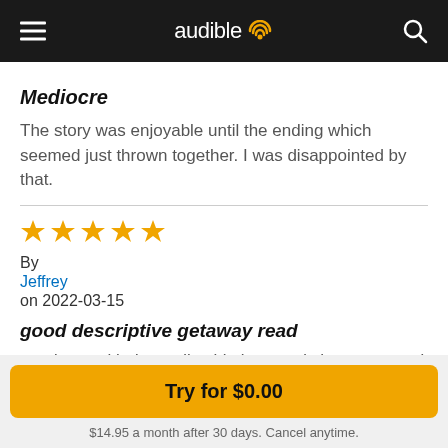audible
Mediocre
The story was enjoyable until the ending which seemed just thrown together. I was disappointed by that.
By Jeffrey on 2022-03-15
good descriptive getaway read
good story. kinda predictable but good characters and rich storytelling. I felt like I was there. very descriptive which I
Try for $0.00
$14.95 a month after 30 days. Cancel anytime.